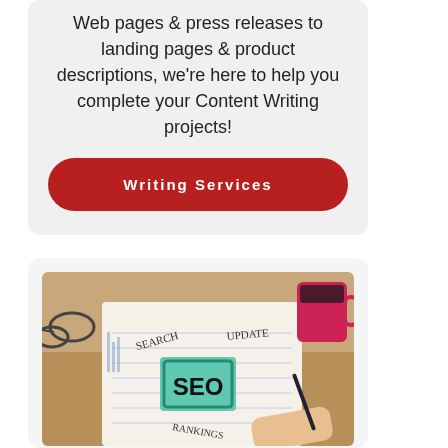Web pages & press releases to landing pages & product descriptions, we're here to help you complete your Content Writing projects!
[Figure (other): Red rounded button labeled 'Writing Services']
[Figure (photo): Photo of a notebook with handwritten SEO-related words (SEARCH, UPDATE, SEO, RANKINGS) with glasses and a red coffee mug in the background]